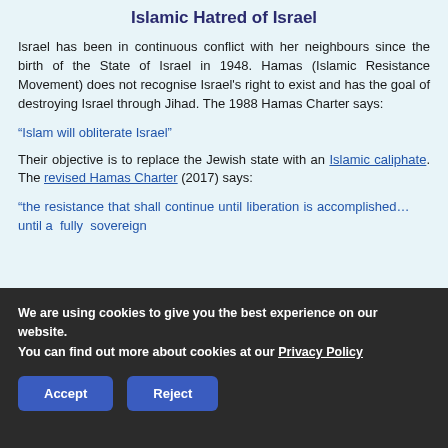Islamic Hatred of Israel
Israel has been in continuous conflict with her neighbours since the birth of the State of Israel in 1948. Hamas (Islamic Resistance Movement) does not recognise Israel's right to exist and has the goal of destroying Israel through Jihad. The 1988 Hamas Charter says:
“Islam will obliterate Israel”
Their objective is to replace the Jewish state with an Islamic caliphate. The revised Hamas Charter (2017) says:
“the resistance that shall continue until liberation is accomplished… until a fully sovereign…
We are using cookies to give you the best experience on our website.
You can find out more about cookies at our Privacy Policy
Accept
Reject